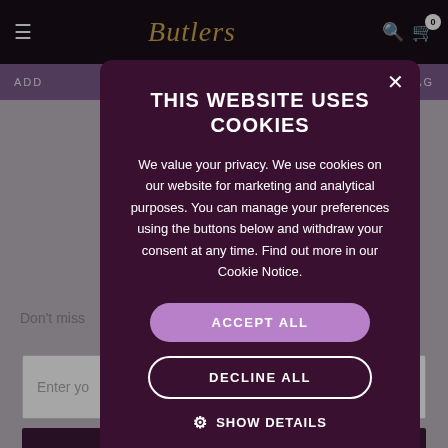Butlers — navigation bar with hamburger menu, logo, search and bag icons
ADD   BAG
Don't miss   from Butlers
Enter yo
Subscribe
THIS WEBSITE USES COOKIES
We value your privacy. We use cookies on our website for marketing and analytical purposes. You can manage your preferences using the buttons below and withdraw your consent at any time. Find out more in our Cookie Notice.
ACCEPT ALL
DECLINE ALL
SHOW DETAILS